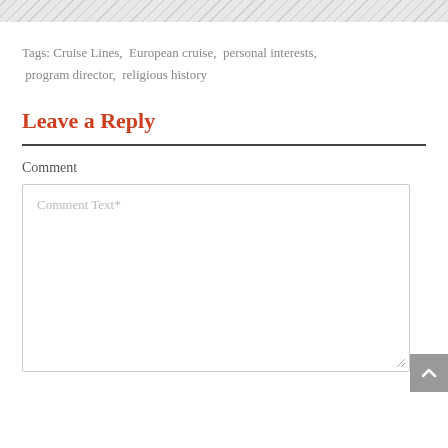Tags: Cruise Lines,  European cruise,  personal interests,  program director,  religious history
Leave a Reply
Comment
Comment Text*